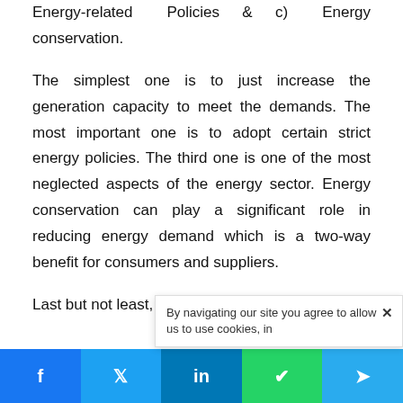Energy-related Policies & c) Energy conservation.
The simplest one is to just increase the generation capacity to meet the demands. The most important one is to adopt certain strict energy policies. The third one is one of the most neglected aspects of the energy sector. Energy conservation can play a significant role in reducing energy demand which is a two-way benefit for consumers and suppliers.
Last but not least, we can edu...